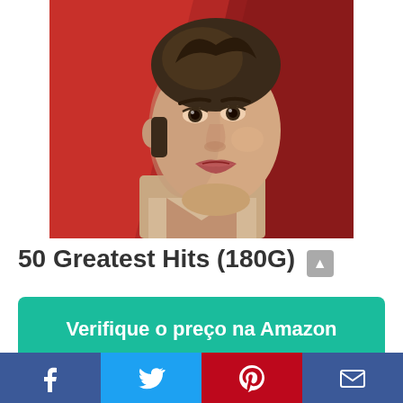[Figure (photo): Close-up portrait photo of a young Elvis Presley against a red background, looking intensely at camera, dark hair styled up, partial face visible]
50 Greatest Hits (180G)
Verifique o preço na Amazon
[Figure (infographic): Social media share bar with Facebook (blue), Twitter (light blue), Pinterest (red), and Email (dark blue) icons]